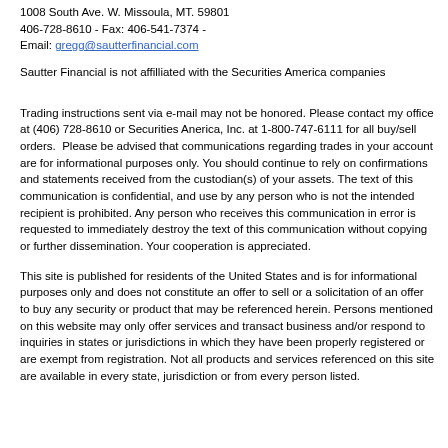1008 South Ave. W. Missoula, MT.  59801
406-728-8610 - Fax: 406-541-7374 -
Email: gregg@sautterfinancial.com
Sautter Financial is not affilliated with the Securities America companies
Trading instructions sent via e-mail may not be honored. Please contact my office at (406) 728-8610 or Securities Anerica, Inc. at 1-800-747-6111 for all buy/sell orders.  Please be advised that communications regarding trades in your account are for informational purposes only. You should continue to rely on confirmations and statements received from the custodian(s) of your assets. The text of this communication is confidential, and use by any person who is not the intended recipient is prohibited. Any person who receives this communication in error is requested to immediately destroy the text of this communication without copying or further dissemination. Your cooperation is appreciated.
This site is published for residents of the United States and is for informational purposes only and does not constitute an offer to sell or a solicitation of an offer to buy any security or product that may be referenced herein. Persons mentioned on this website may only offer services and transact business and/or respond to inquiries in states or jurisdictions in which they have been properly registered or are exempt from registration. Not all products and services referenced on this site are available in every state, jurisdiction or from every person listed.